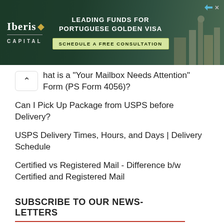[Figure (other): Iberis Capital advertisement banner for Portuguese Golden Visa with 'Schedule a Free Consultation' CTA button]
hat is a "Your Mailbox Needs Attention" Form (PS Form 4056)?
Can I Pick Up Package from USPS before Delivery?
USPS Delivery Times, Hours, and Days | Delivery Schedule
Certified vs Registered Mail - Difference b/w Certified and Registered Mail
SUBSCRIBE TO OUR NEWS-LETTERS
Join 317 other subscribers
Email Address